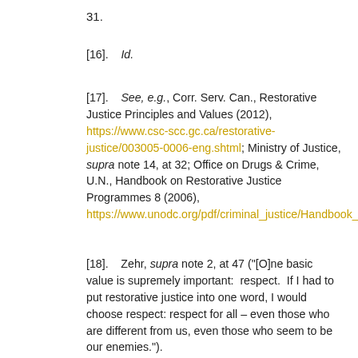31.
[16].    Id.
[17].    See, e.g., Corr. Serv. Can., Restorative Justice Principles and Values (2012), https://www.csc-scc.gc.ca/restorative-justice/003005-0006-eng.shtml; Ministry of Justice, supra note 14, at 32; Office on Drugs & Crime, U.N., Handbook on Restorative Justice Programmes 8 (2006), https://www.unodc.org/pdf/criminal_justice/Handbook_on_Restorative_Justice_Programmes.pdf.
[18].    Zehr, supra note 2, at 47 ("[O]ne basic value is supremely important:  respect.  If I had to put restorative justice into one word, I would choose respect: respect for all – even those who are different from us, even those who seem to be our enemies.").